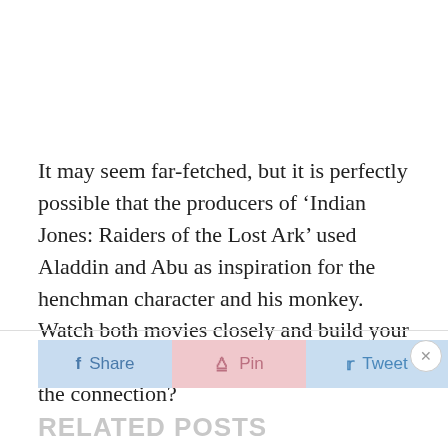It may seem far-fetched, but it is perfectly possible that the producers of ‘Indian Jones: Raiders of the Lost Ark’ used Aladdin and Abu as inspiration for the henchman character and his monkey. Watch both movies closely and build your own opinion on what you see. Can you see the connection?
[Figure (other): Social sharing buttons: Share (blue), Pin (pink), Tweet (light blue), with an X close button]
RELATED POSTS